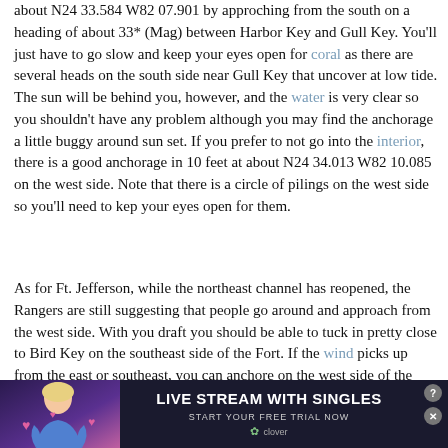about N24 33.584 W82 07.901 by approching from the south on a heading of about 33* (Mag) between Harbor Key and Gull Key. You'll just have to go slow and keep your eyes open for coral as there are several heads on the south side near Gull Key that uncover at low tide. The sun will be behind you, however, and the water is very clear so you shouldn't have any problem although you may find the anchorage a little buggy around sun set. If you prefer to not go into the interior, there is a good anchorage in 10 feet at about N24 34.013 W82 10.085 on the west side. Note that there is a circle of pilings on the west side so you'll need to kep your eyes open for them.
As for Ft. Jefferson, while the northeast channel has reopened, the Rangers are still suggesting that people go around and approach from the west side. With you draft you should be able to tuck in pretty close to Bird Key on the southeast side of the Fort. If the wind picks up from the east or southeast, you can anchore on the west side of the Fort as long as you are east of the channel markers and outside the bouys marking the swimming area.
In either case, the holding's not great so use a lot of chain and a rock hook if y... s a lot thin sand... not if
[Figure (other): Advertisement banner: 'LIVE STREAM WITH SINGLES' from Clover dating app, showing a woman in blue top with hearts, with close/help buttons]